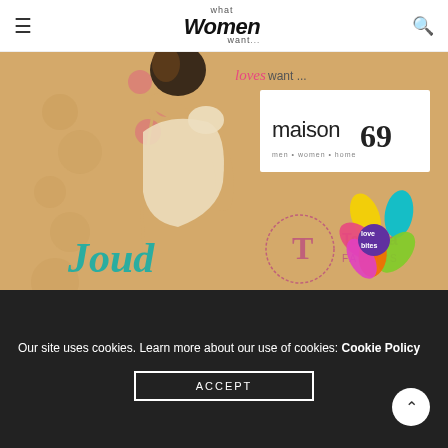what women want
[Figure (illustration): Magazine page showing multiple brand logos on a kraft/beige background with illustrated woman figure. Logos include: loves want..., maison 69 (men women home), Joud (Arabic calligraphy), Tamara Fabrics, love bites, PEE (with bird icon), Kcal, The Four Fat Ladies.]
Our site uses cookies. Learn more about our use of cookies: Cookie Policy
ACCEPT